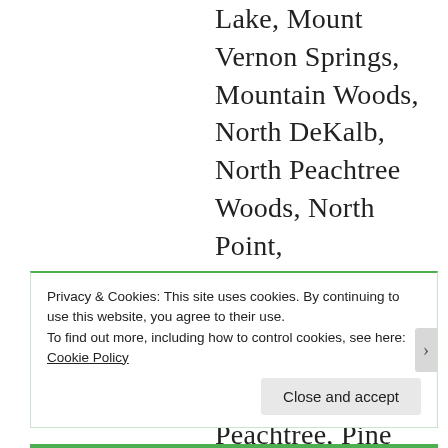Lake, Mount Vernon Springs, Mountain Woods, North DeKalb, North Peachtree Woods, North Point, Northwoods, Oak Grove, Oak Point, Oakengate, Panola, Patriots Hill, Peachtree, Pine Mountain, Pinehurst, Pittsburg, Plymouth Colony, Pointe Bleue, Raiders Ridge, Redfield, Rehoboth, River Hills, River Run,
Privacy & Cookies: This site uses cookies. By continuing to use this website, you agree to their use. To find out more, including how to control cookies, see here: Cookie Policy